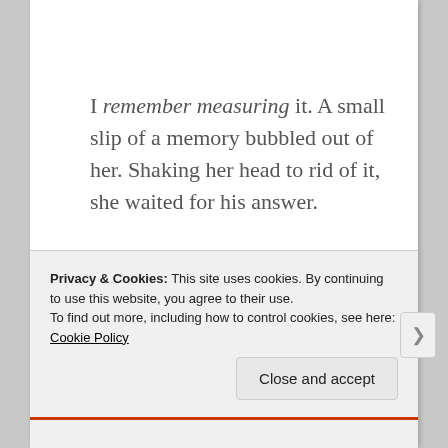I remember measuring it. A small slip of a memory bubbled out of her. Shaking her head to rid of it, she waited for his answer.
“A conference actually, I am here on work. I am staying with Akash” he said. Quickly looking away, stopping to take a breath he continued, “And he
Privacy & Cookies: This site uses cookies. By continuing to use this website, you agree to their use.
To find out more, including how to control cookies, see here: Cookie Policy
Close and accept